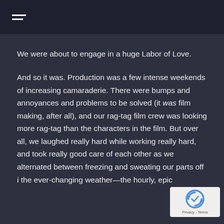≡ (hamburger menu icon)
We were about to engage in a huge Labor of Love.
And so it was. Production was a few intense weekends of increasing camaraderie. There were bumps and annoyances and problems to be solved (it was film making, after all), and our rag-tag film crew was looking more rag-tag than the characters in the film. But over all, we laughed really hard while working really hard, and took really good care of each other as we alternated between freezing and sweating our parts off in the ever-changing weather—the hourly, epic
[Figure (logo): reCAPTCHA badge with Google reCAPTCHA logo and Privacy - Terms text]